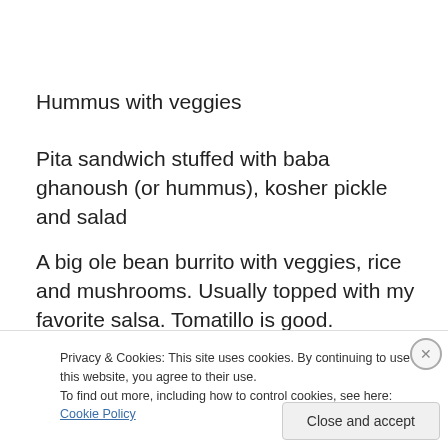Hummus with veggies
Pita sandwich stuffed with baba ghanoush (or hummus), kosher pickle and salad
A big ole bean burrito with veggies, rice and mushrooms. Usually topped with my favorite salsa. Tomatillo is good.
[Figure (photo): Photo of a dark baking pan or tray, partially visible]
Privacy & Cookies: This site uses cookies. By continuing to use this website, you agree to their use. To find out more, including how to control cookies, see here: Cookie Policy
Close and accept